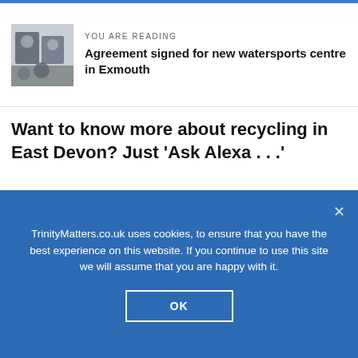YOU ARE READING
Agreement signed for new watersports centre in Exmouth
Want to know more about recycling in East Devon? Just 'Ask Alexa . . .'
6TH NOVEMBER 2019
[Figure (photo): Close-up photo of an electric vehicle charging port on a gold/orange car]
TrinityMatters.co.uk uses cookies, to ensure that you have the best experience on this website. If you continue to use this site we will assume that you are happy with it.